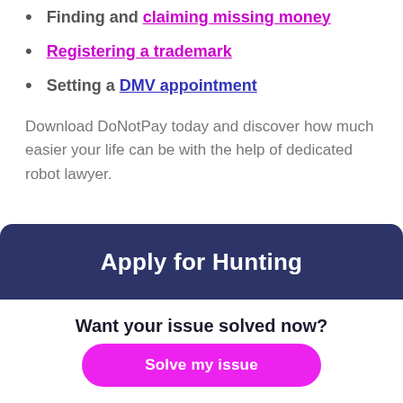Finding and claiming missing money
Registering a trademark
Setting a DMV appointment
Download DoNotPay today and discover how much easier your life can be with the help of dedicated robot lawyer.
Apply for Hunting
Want your issue solved now?
Solve my issue